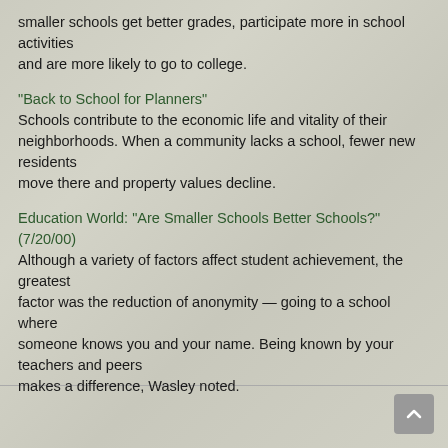smaller schools get better grades, participate more in school activities and are more likely to go to college.
“Back to School for Planners” Schools contribute to the economic life and vitality of their neighborhoods. When a community lacks a school, fewer new residents move there and property values decline.
Education World: “Are Smaller Schools Better Schools?” (7/20/00) Although a variety of factors affect student achievement, the greatest factor was the reduction of anonymity — going to a school where someone knows you and your name. Being known by your teachers and peers makes a difference, Wasley noted.